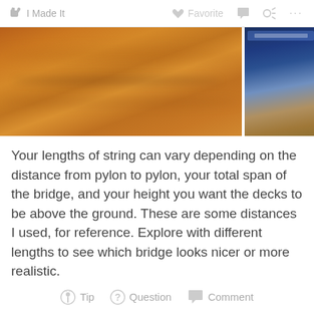I Made It   Favorite   Comment   Share   ...
[Figure (photo): Two photos of wood grain material side by side — a large warm brown wood grain panel on the left and a smaller panel on the right with a blue label visible at the top]
Your lengths of string can vary depending on the distance from pylon to pylon, your total span of the bridge, and your height you want the decks to be above the ground.  These are some distances I used, for reference.  Explore with different lengths to see which bridge looks nicer or more realistic.
Tip   Question   Comment
Step 6: Stringing the Deck(s)